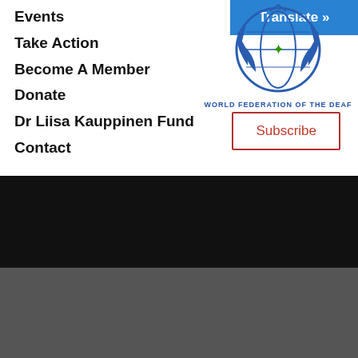Events
Take Action
Become A Member
Donate
Dr Liisa Kauppinen Fund
Contact
[Figure (logo): World Federation of the Deaf logo — UN-style globe with laurel wreath and a hand symbol, blue colors, with text WORLD FEDERATION OF THE DEAF below]
Translate »
Subscribe
© 2016 World Federation of the Deaf | Web design and developed by Communication Service for the
[Figure (infographic): Social media icons: Facebook, Twitter, LinkedIn, Instagram — dark rounded square icons on black background]
We use cookies to provide you with a better customer experience. For more information, visit our Privacy Statement.
Okay, thanks